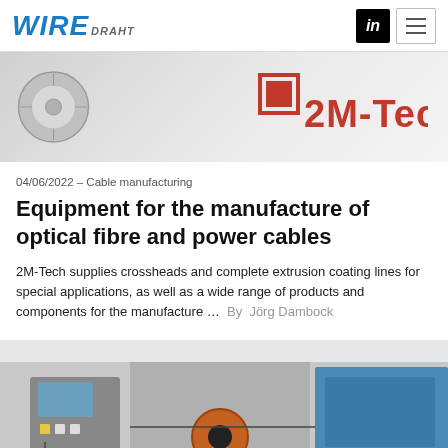WIRE DRAHT
[Figure (photo): Wire reel/drum component on left side and 2M-Tech red logo on right side against grey background]
04/06/2022 – Cable manufacturing
Equipment for the manufacture of optical fibre and power cables
2M-Tech supplies crossheads and complete extrusion coating lines for special applications, as well as a wide range of products and components for the manufacture ...  By  Jörg Dambock
[Figure (photo): Industrial wire/cable manufacturing machinery showing control panel, wire spools and blue industrial equipment]